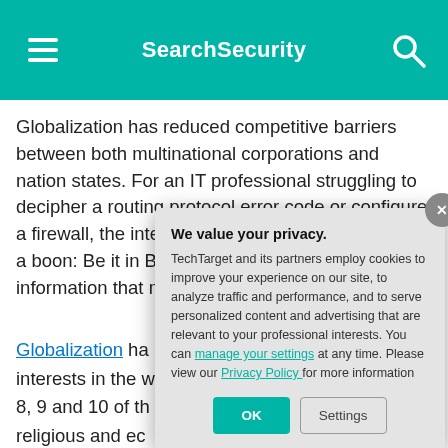SearchSecurity
Globalization has reduced competitive barriers between both multinational corporations and nation states. For an IT professional struggling to decipher a routing protocol error code or configure a firewall, the international nature of technology is a boon: Be it in Boston, Brussels someone somewhere has information that more smoothly c flat world isn't to
Globalization ha interests in the w 8, 9 and 10 of th religious and ec security realm, th 2006, when Isra
We value your privacy.
TechTarget and its partners employ cookies to improve your experience on our site, to analyze traffic and performance, and to serve personalized content and advertising that are relevant to your professional interests. You can manage your settings at any time. Please view our Privacy Policy for more information
OK
Settings